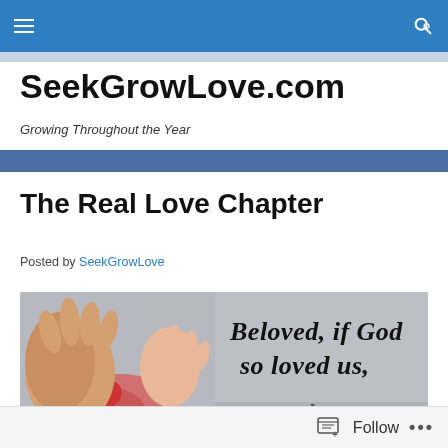SeekGrowLove.com — Navigation bar with hamburger menu and search icon
SeekGrowLove.com
Growing Throughout the Year
The Real Love Chapter
Posted by SeekGrowLove
[Figure (photo): Hands holding a red heart with text overlay: 'Beloved, if God so loved us,']
Follow ...